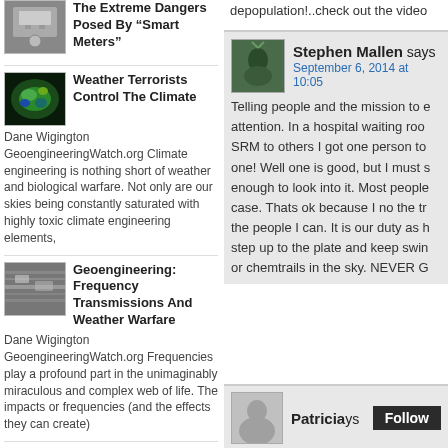[Figure (photo): Thumbnail of electric smart meter]
The Extreme Dangers Posed By “Smart Meters”
depopulation!..check out the video
[Figure (photo): Thumbnail of weather satellite image with green and blue colors]
Weather Terrorists Control The Climate
Dane Wigington GeoengineeringWatch.org Climate engineering is nothing short of weather and biological warfare. Not only are our skies being constantly saturated with highly toxic climate engineering elements,
[Figure (photo): Thumbnail of frequency cloud pattern image in grayscale]
Geoengineering: Frequency Transmissions And Weather Warfare
Dane Wigington GeoengineeringWatch.org Frequencies play a profound part in the unimaginably miraculous and complex web of life. The impacts or frequencies (and the effects they can create)
[Figure (photo): Thumbnail of square clouds image]
Geoengineering, Square Clouds, And Massive
[Figure (photo): Avatar thumbnail of Stephen Mallen - green tinted person]
Stephen Mallen says
September 6, 2014 at 10:05
Telling people and the mission to e attention. In a hospital waiting roo SRM to others I got one person to one! Well one is good, but I must s enough to look into it. Most people case. Thats ok because I no the tr the people I can. It is our duty as h step up to the plate and keep swin or chemtrails in the sky. NEVER G
[Figure (photo): Avatar thumbnail of Patricia - gray silhouette]
Patricia says
Follow